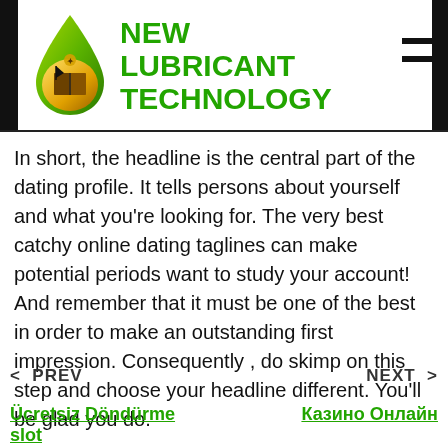NEW LUBRICANT TECHNOLOGY
In short, the headline is the central part of the dating profile. It tells persons about yourself and what you're looking for. The very best catchy online dating taglines can make potential periods want to study your account! And remember that it must be one of the best in order to make an outstanding first impression. Consequently , do skimp on this step and choose your headline different. You'll be glad you do.
< PREV    NEXT >
Ücretsiz Döndürme slot
Казино Онлайн